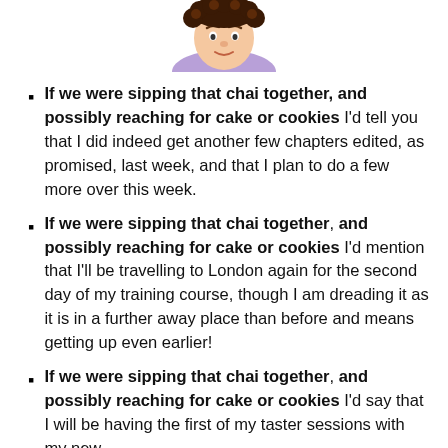[Figure (illustration): Cartoon illustration of a person's head with curly brown hair and a purple collar, cropped at the top of the page]
If we were sipping that chai together, and possibly reaching for cake or cookies I'd tell you that I did indeed get another few chapters edited, as promised, last week, and that I plan to do a few more over this week.
If we were sipping that chai together, and possibly reaching for cake or cookies I'd mention that I'll be travelling to London again for the second day of my training course, though I am dreading it as it is in a further away place than before and means getting up even earlier!
If we were sipping that chai together, and possibly reaching for cake or cookies I'd say that I will be having the first of my taster sessions with my new